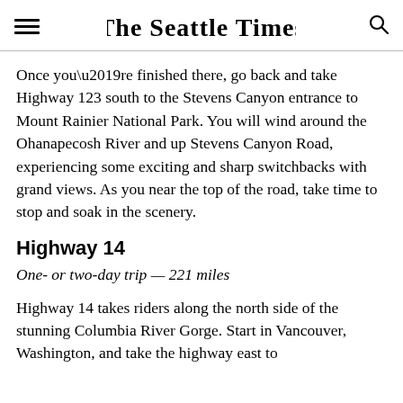The Seattle Times
Once you’re finished there, go back and take Highway 123 south to the Stevens Canyon entrance to Mount Rainier National Park. You will wind around the Ohanapecosh River and up Stevens Canyon Road, experiencing some exciting and sharp switchbacks with grand views. As you near the top of the road, take time to stop and soak in the scenery.
Highway 14
One- or two-day trip — 221 miles
Highway 14 takes riders along the north side of the stunning Columbia River Gorge. Start in Vancouver, Washington, and take the highway east to